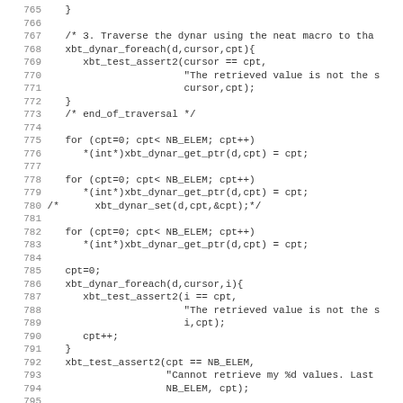Source code listing, lines 765–797, C programming language